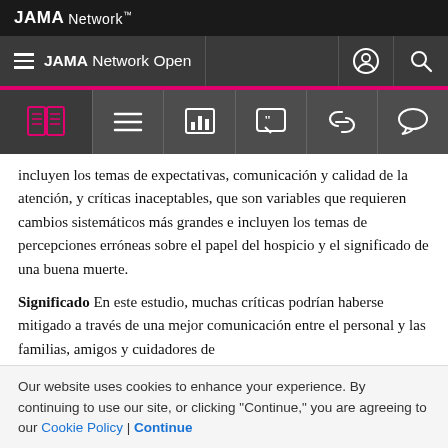JAMA Network
JAMA Network Open
[Figure (screenshot): Toolbar with icons: book/read, menu/list, bar chart, quote, link, comment]
incluyen los temas de expectativas, comunicación y calidad de la atención, y críticas inaceptables, que son variables que requieren cambios sistemáticos más grandes e incluyen los temas de percepciones erróneas sobre el papel del hospicio y el significado de una buena muerte.
Significado  En este estudio, muchas críticas podrían haberse mitigado a través de una mejor comunicación entre el personal y las familias, amigos y cuidadores de
Our website uses cookies to enhance your experience. By continuing to use our site, or clicking "Continue," you are agreeing to our Cookie Policy | Continue